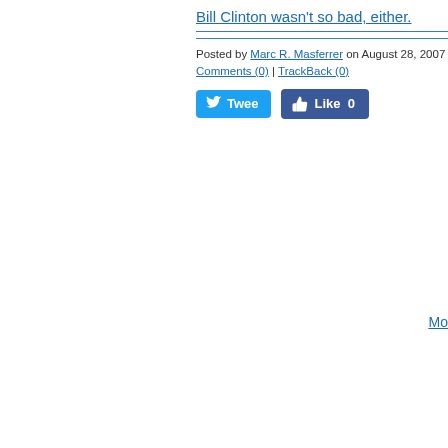Bill Clinton wasn't so bad, either.
Posted by Marc R. Masferrer on August 28, 2007 Comments (0) | TrackBack (0)
[Figure (other): Tweet and Like social media buttons]
Mo...